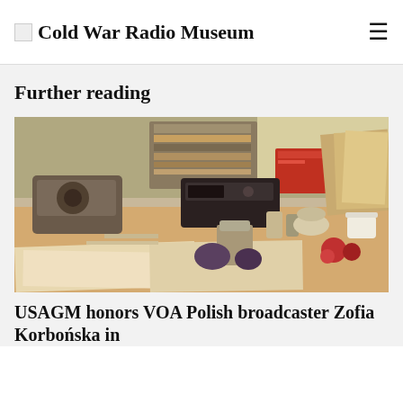Cold War Radio Museum
Further reading
[Figure (photo): A cluttered desk with papers, folders, a telephone, and various office items in warm vintage tones]
USAGM honors VOA Polish broadcaster Zofia Korbońska in